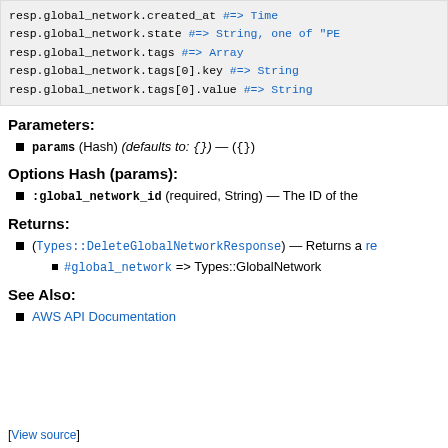[Figure (screenshot): Code block showing Ruby API response fields: resp.global_network.created_at #=> Time, resp.global_network.state #=> String, one of "PE..., resp.global_network.tags #=> Array, resp.global_network.tags[0].key #=> String, resp.global_network.tags[0].value #=> String]
Parameters:
params (Hash) (defaults to: {}) — ({})
Options Hash (params):
:global_network_id (required, String) — The ID of the
Returns:
(Types::DeleteGlobalNetworkResponse) — Returns a re
#global_network => Types::GlobalNetwork
See Also:
AWS API Documentation
[View source]